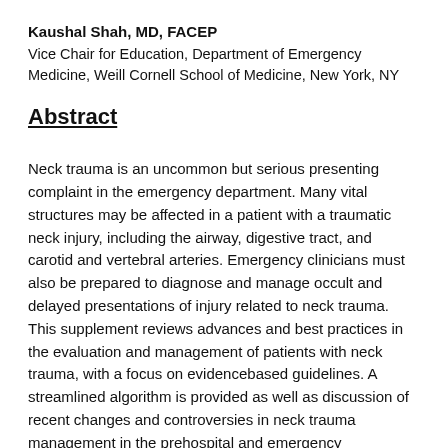Kaushal Shah, MD, FACEP
Vice Chair for Education, Department of Emergency Medicine, Weill Cornell School of Medicine, New York, NY
Abstract
Neck trauma is an uncommon but serious presenting complaint in the emergency department. Many vital structures may be affected in a patient with a traumatic neck injury, including the airway, digestive tract, and carotid and vertebral arteries. Emergency clinicians must also be prepared to diagnose and manage occult and delayed presentations of injury related to neck trauma. This supplement reviews advances and best practices in the evaluation and management of patients with neck trauma, with a focus on evidencebased guidelines. A streamlined algorithm is provided as well as discussion of recent changes and controversies in neck trauma management in the prehospital and emergency